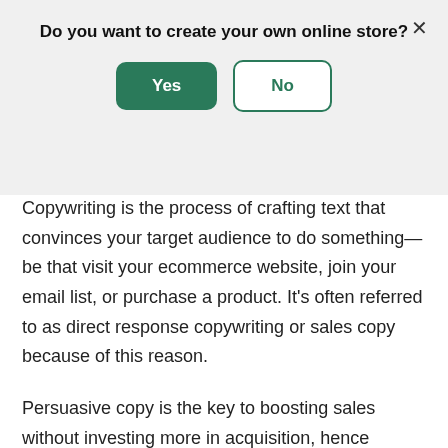[Figure (screenshot): Modal dialog overlay asking 'Do you want to create your own online store?' with a green 'Yes' button and a white/outlined 'No' button, and an X close button in the top right corner.]
What is copywriting?
Copywriting is the process of crafting text that convinces your target audience to do something—be that visit your ecommerce website, join your email list, or purchase a product. It's often referred to as direct response copywriting or sales copy because of this reason.
Persuasive copy is the key to boosting sales without investing more in acquisition, hence